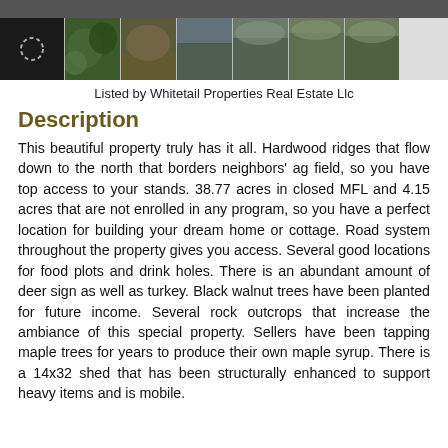[Figure (photo): Top dark bar header strip]
[Figure (photo): Row of 7 thumbnail photos showing forested land aerial views and dense vegetation]
Listed by Whitetail Properties Real Estate Llc
Description
This beautiful property truly has it all. Hardwood ridges that flow down to the north that borders neighbors' ag field, so you have top access to your stands. 38.77 acres in closed MFL and 4.15 acres that are not enrolled in any program, so you have a perfect location for building your dream home or cottage. Road system throughout the property gives you access. Several good locations for food plots and drink holes. There is an abundant amount of deer sign as well as turkey. Black walnut trees have been planted for future income. Several rock outcrops that increase the ambiance of this special property. Sellers have been tapping maple trees for years to produce their own maple syrup. There is a 14x32 shed that has been structurally enhanced to support heavy items and is mobile.